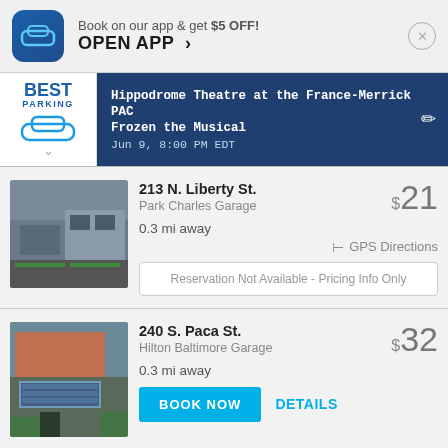Book on our app & get $5 OFF! OPEN APP >
Hippodrome Theatre at the France-Merrick PAC Frozen the Musical Jun 9, 8:00 PM EDT
213 N. Liberty St. Park Charles Garage 0.3 mi away $21 GPS Directions Reservation Not Available - Pricing Info Only
240 S. Paca St. Hilton Baltimore Garage 0.3 mi away $32 BOOK NOW DETAILS
100 W. Fayette St. Parkway Corp - 100 W. Fayett $20